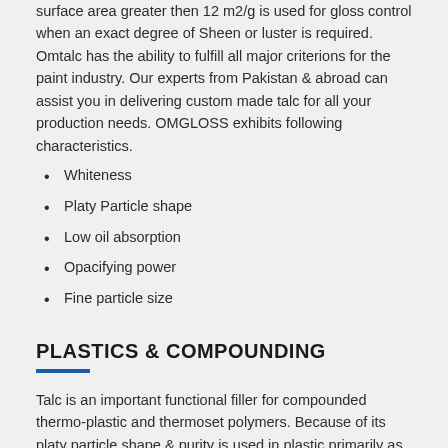surface area greater then 12 m2/g is used for gloss control when an exact degree of Sheen or luster is required. Omtalc has the ability to fulfill all major criterions for the paint industry. Our experts from Pakistan & abroad can assist you in delivering custom made talc for all your production needs. OMGLOSS exhibits following characteristics.
Whiteness
Platy Particle shape
Low oil absorption
Opacifying power
Fine particle size
PLASTICS & COMPOUNDING
Talc is an important functional filler for compounded thermo-plastic and thermoset polymers. Because of its platy particle shape & purity is used in plastic primarily as reinforcing filler. It increases the stiffness of polypropylene by 80% at a 20% loading and by 150% at a 40% loading. It also increases the heat resistance of polypropylene, reduces mold shrinkage, improves melt rheology,